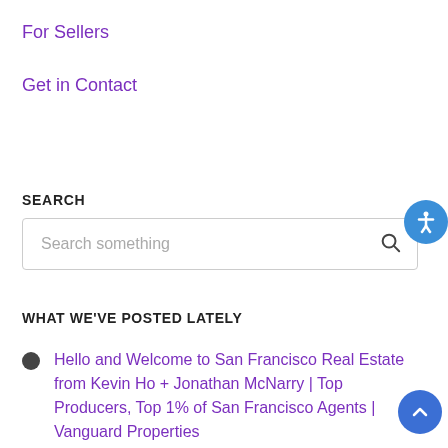For Sellers
Get in Contact
SEARCH
[Figure (screenshot): Search input box with placeholder text 'Search something' and a search icon on the right]
WHAT WE'VE POSTED LATELY
Hello and Welcome to San Francisco Real Estate from Kevin Ho + Jonathan McNarry | Top Producers, Top 1% of San Francisco Agents | Vanguard Properties